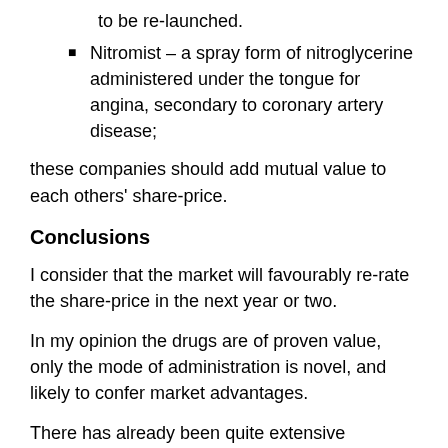to be re-launched.
Nitromist – a spray form of nitroglycerine administered under the tongue for angina, secondary to coronary artery disease;
these companies should add mutual value to each others' share-price.
Conclusions
I consider that the market will favourably re-rate the share-price in the next year or two.
In my opinion the drugs are of proven value, only the mode of administration is novel, and likely to confer market advantages.
There has already been quite extensive research and